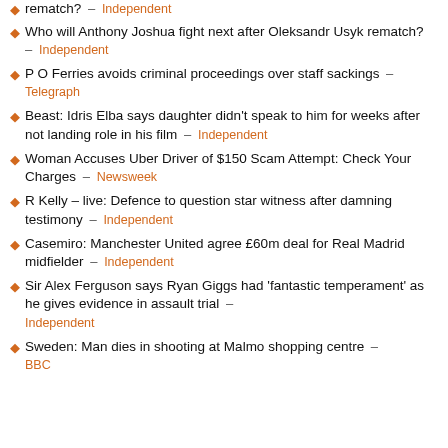rematch? – Independent
Who will Anthony Joshua fight next after Oleksandr Usyk rematch? – Independent
P O Ferries avoids criminal proceedings over staff sackings – Telegraph
Beast: Idris Elba says daughter didn't speak to him for weeks after not landing role in his film – Independent
Woman Accuses Uber Driver of $150 Scam Attempt: Check Your Charges – Newsweek
R Kelly – live: Defence to question star witness after damning testimony – Independent
Casemiro: Manchester United agree £60m deal for Real Madrid midfielder – Independent
Sir Alex Ferguson says Ryan Giggs had 'fantastic temperament' as he gives evidence in assault trial – Independent
Sweden: Man dies in shooting at Malmo shopping centre – BBC